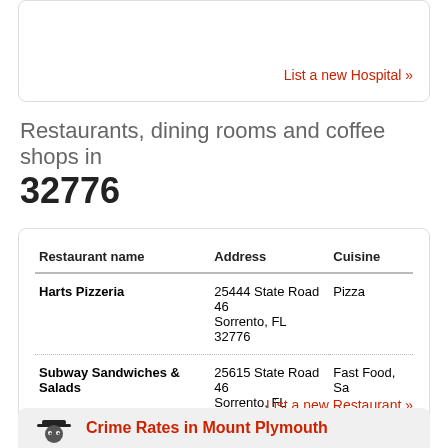List a new Hospital »
Restaurants, dining rooms and coffee shops in 32776
| Restaurant name | Address | Cuisine |
| --- | --- | --- |
| Harts Pizzeria | 25444 State Road 46 Sorrento, FL 32776 | Pizza |
| Subway Sandwiches & Salads | 25615 State Road 46 Sorrento, FL 32776 | Fast Food, Sa |
List a new Restaurant »
Crime rates
Crime Rates in Mount Plymouth